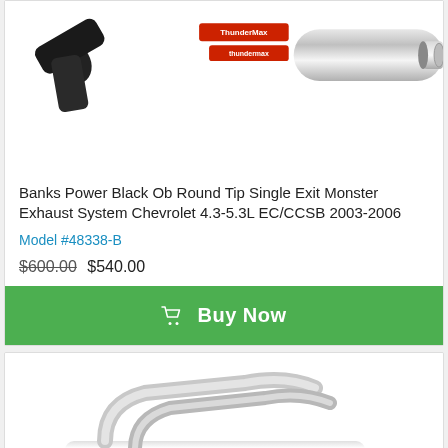[Figure (photo): Banks Power exhaust system product photo showing black round tip and chrome muffler on white background with ThunderMax logo stickers]
Banks Power Black Ob Round Tip Single Exit Monster Exhaust System Chevrolet 4.3-5.3L EC/CCSB 2003-2006
Model #48338-B
$600.00  $540.00
Buy Now
[Figure (photo): Chrome exhaust pipe system parts on white background with Need Help badge in bottom right corner]